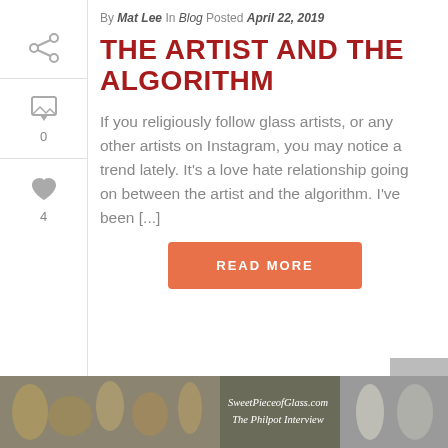By Mat Lee In Blog Posted April 22, 2019
THE ARTIST AND THE ALGORITHM
If you religiously follow glass artists, or any other artists on Instagram, you may notice a trend lately. It’s a love hate relationship going on between the artist and the algorithm. I’ve been [...]
READ MORE
[Figure (photo): Bottom banner image showing glass art pieces on a gray background with text overlay reading SweetPieceofGlass.com and The Philpot Interview]